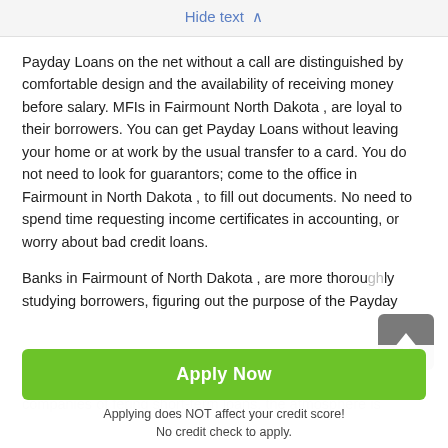Hide text ∧
Payday Loans on the net without a call are distinguished by comfortable design and the availability of receiving money before salary. MFIs in Fairmount North Dakota , are loyal to their borrowers. You can get Payday Loans without leaving your home or at work by the usual transfer to a card. You do not need to look for guarantors; come to the office in Fairmount in North Dakota , to fill out documents. No need to spend time requesting income certificates in accounting, or worry about bad credit loans.
Banks in Fairmount of North Dakota , are more thoroughly studying borrowers, figuring out the purpose of the Payday Loans, the state of a person's credit history. In microfinance companies offering short-term loans, the atmosphere is friendlier. They do not stand long negotiations, do not call people back, and on most items it can be automatically performed by an int...m.
[Figure (other): Green Apply Now button with subtext: Applying does NOT affect your credit score! No credit check to apply.]
Applying does NOT affect your credit score!
No credit check to apply.